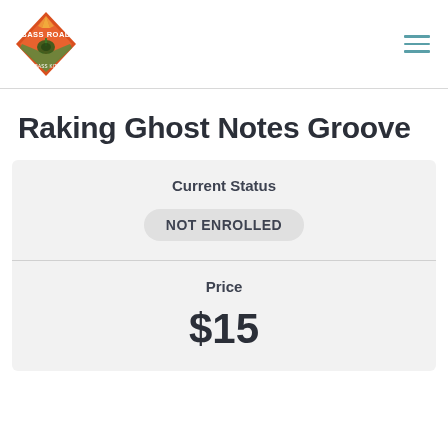[Figure (logo): Bass Road logo — diamond-shaped badge with orange/red background, white text 'BASS ROAD' and a bass guitar illustration]
Raking Ghost Notes Groove
| Current Status |
| --- |
| NOT ENROLLED |
| Price |
| --- |
| $15 |